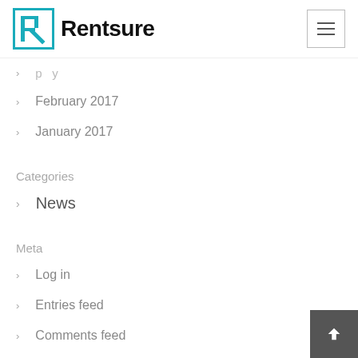Rentsure
February 2017
January 2017
Categories
News
Meta
Log in
Entries feed
Comments feed
WordPress.org